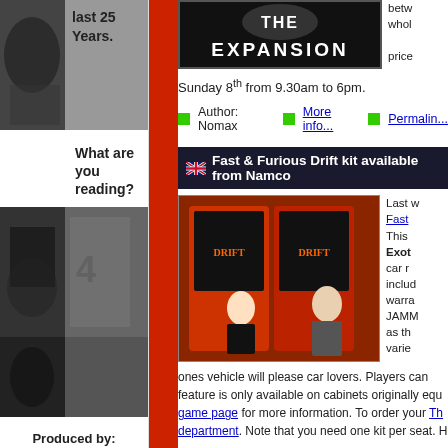last 25 Years.
What are you reading?
[Figure (photo): Sidebar decorative images with silhouettes]
Produced by:
[Figure (logo): KWP Limited logo]
[Figure (photo): THE EXPANSION title on dark background]
Sunday 8th from 9.30am to 6pm.
Author: Nomax    More info...    Permalink...
Fast & Furious Drift kit available from Namco
[Figure (photo): Two men standing in front of Fast & Furious Drift arcade cabinet]
Last week... Fast... This... Exot... car r... includ... warra... JAMM... as th... varie...
ones vehicle will please car lovers. Players can... feature is only available on cabinets originally equ... game page for more information. To order your Th... department. Note that you need one kit per seat. H...